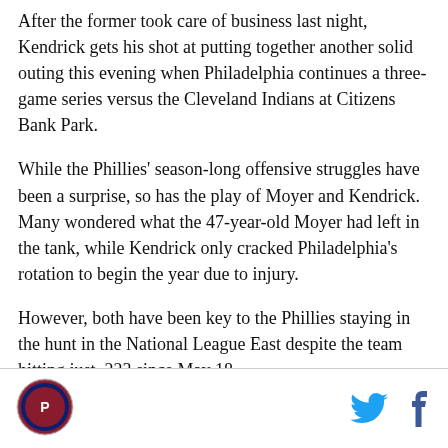After the former took care of business last night, Kendrick gets his shot at putting together another solid outing this evening when Philadelphia continues a three-game series versus the Cleveland Indians at Citizens Bank Park.
While the Phillies' season-long offensive struggles have been a surprise, so has the play of Moyer and Kendrick. Many wondered what the 47-year-old Moyer had left in the tank, while Kendrick only cracked Philadelphia's rotation to begin the year due to injury.
However, both have been key to the Phillies staying in the hunt in the National League East despite the team hitting just .223 since May 18.
[Figure (logo): Philadelphia Phillies circular logo]
[Figure (logo): Twitter bird icon and Facebook f icon social share buttons]